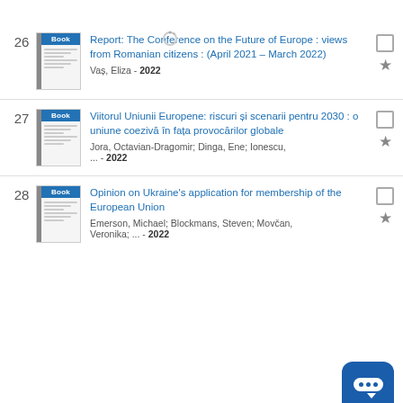26. Report: The Conference on the Future of Europe : views from Romanian citizens : (April 2021 – March 2022) Vaș, Eliza - 2022
27. Viitorul Uniunii Europene: riscuri și scenarii pentru 2030 : o uniune coezivă în fața provocărilor globale Jora, Octavian-Dragomir; Dinga, Ene; Ionescu, ... - 2022
28. Opinion on Ukraine's application for membership of the European Union Emerson, Michael; Blockmans, Steven; Movčan, Veronika; ... - 2022